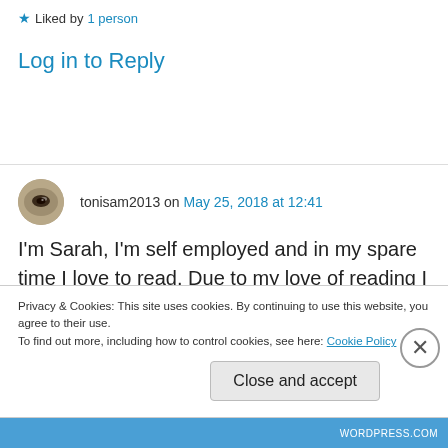★ Liked by 1 person
Log in to Reply
tonisam2013 on May 25, 2018 at 12:41
I'm Sarah, I'm self employed and in my spare time I love to read. Due to my love of reading I thought I would set up a blog to share with
Privacy & Cookies: This site uses cookies. By continuing to use this website, you agree to their use.
To find out more, including how to control cookies, see here: Cookie Policy
Close and accept